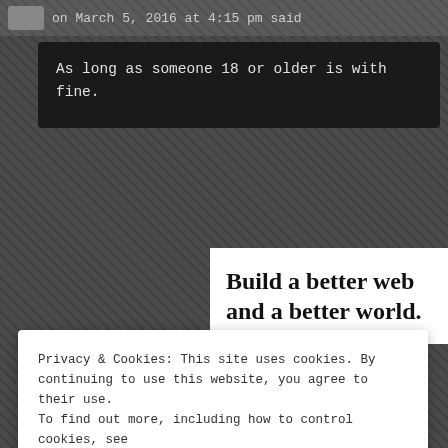on March 5, 2016 at 4:15 pm said
As long as someone 18 or older is with fine.
Build a better web and a better world.
Privacy & Cookies: This site uses cookies. By continuing to use this website, you agree to their use. To find out more, including how to control cookies, see here: Cookie Policy
Close and accept